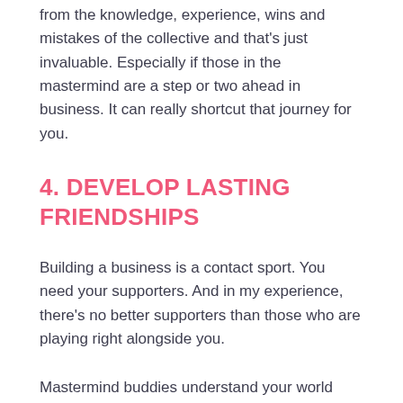from the knowledge, experience, wins and mistakes of the collective and that's just invaluable. Especially if those in the mastermind are a step or two ahead in business. It can really shortcut that journey for you.
4. DEVELOP LASTING FRIENDSHIPS
Building a business is a contact sport. You need your supporters. And in my experience, there's no better supporters than those who are playing right alongside you.
Mastermind buddies understand your world when your family and partner may not. And friendships formed in this sometimes intense space are tight. When